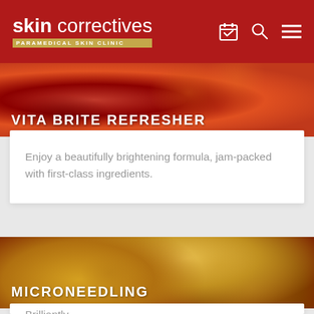skin correctives PARAMEDICAL SKIN CLINIC
[Figure (photo): Red swirling abstract background with VITA BRITE REFRESHER title text overlay]
VITA BRITE REFRESHER
Enjoy a beautifully brightening formula, jam-packed with first-class ingredients.
[Figure (photo): Gold and dark red marbled/textured abstract background with MICRONEEDLING title text overlay]
MICRONEEDLING
Brilliantly…